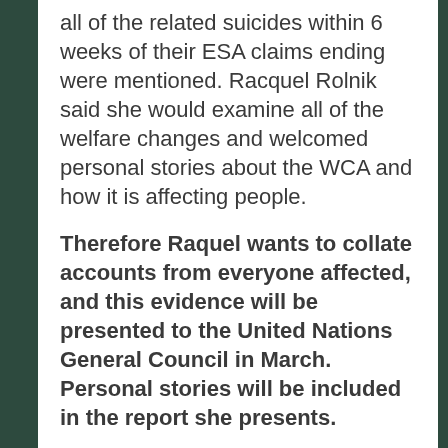all of the related suicides within 6 weeks of their ESA claims ending were mentioned. Racquel Rolnik said she would examine all of the welfare changes and welcomed personal stories about the WCA and how it is affecting people.
Therefore Raquel wants to collate accounts from everyone affected, and this evidence will be presented to the United Nations General Council in March. Personal stories will be included in the report she presents.
Raquel was made aware of the